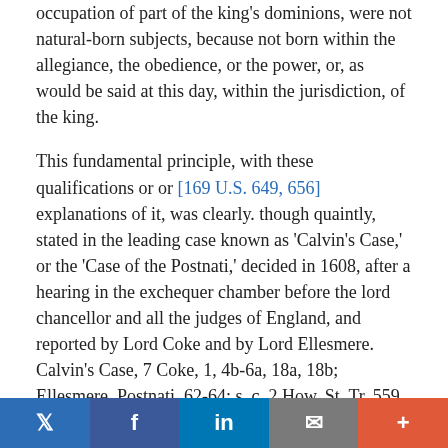occupation of part of the king's dominions, were not natural-born subjects, because not born within the allegiance, the obedience, or the power, or, as would be said at this day, within the jurisdiction, of the king.
This fundamental principle, with these qualifications or or [169 U.S. 649, 656]   explanations of it, was clearly. though quaintly, stated in the leading case known as 'Calvin's Case,' or the 'Case of the Postnati,' decided in 1608, after a hearing in the exchequer chamber before the lord chancellor and all the judges of England, and reported by Lord Coke and by Lord Ellesmere. Calvin's Case, 7 Coke, 1, 4b-6a, 18a, 18b; Ellesmere, Postnati, 62-64; s. c. 2 How. St. Tr. 559, 607, 613-617, 639, 640, 659, 679.
The English authorities ever since are to the like effect. Co. Litt. 8a, 128b; Lord Hale, in Harg. Law Tracts, 210, and in 1 Hale P.C. 61, 68; 1 Bl. Comm. 366, 369, 370, 374; 4 Bl.
Twitter | Facebook | in | Email | +